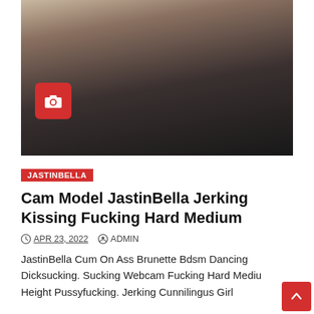[Figure (photo): Woman in black sheer top, sitting, partially obscured view — webcam model photo thumbnail with red camera badge overlay]
JASTINBELLA
Cam Model JastinBella Jerking Kissing Fucking Hard Medium
APR 23, 2022   ADMIN
JastinBella Cum On Ass Brunette Bdsm Dancing Dicksucking. Sucking Webcam Fucking Hard Medium Height Pussyfucking. Jerking Cunnilingus Girl